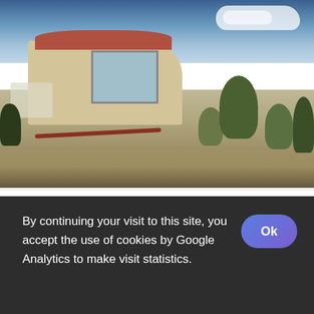[Figure (photo): 360-degree panoramic photo of a Provençal holiday home with a terrace with white chairs and table, large glass sliding doors, surrounding gravel garden with olive trees and bushes, and a blue sky with clouds.]
Ferienwohnung in der Provence im Departement VAR
Ferienwohnung in der Provence im Departement VAR nur 35km von St Tropez entfernt
By continuing your visit to this site, you accept the use of cookies by Google Analytics to make visit statistics.